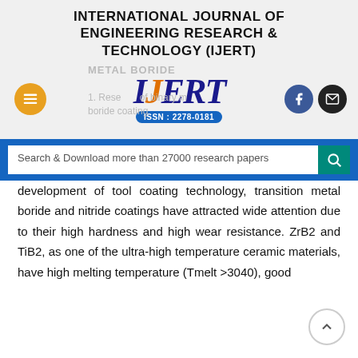INTERNATIONAL JOURNAL OF ENGINEERING RESEARCH & TECHNOLOGY (IJERT)
[Figure (logo): IJERT logo with ISSN: 2278-0181, hamburger menu button, Facebook icon, and email icon. Watermark text: METAL BORIDE and reference text partially visible.]
Search & Download more than 27000 research papers
development of tool coating technology, transition metal boride and nitride coatings have attracted wide attention due to their high hardness and high wear resistance. ZrB2 and TiB2, as one of the ultra-high temperature ceramic materials, have high melting temperature (Tmelt >3040), good